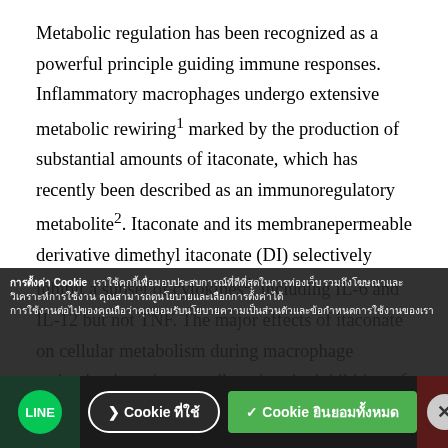Metabolic regulation has been recognized as a powerful principle guiding immune responses. Inflammatory macrophages undergo extensive metabolic rewiring¹ marked by the production of substantial amounts of itaconate, which has recently been described as an immunoregulatory metabolite². Itaconate and its membranepermeable derivative dimethyl itaconate (DI) selectively inhibit a subset of cytokines², including IL-6 and IL-12 but not TNF. The major effects of itaconate on cellular metabolism during macrophage activation have been attributed to the inhibition of succinate dehydrogenase²,³, yet this inhibition alone is not sufficient to account for the pronounced immunoregulatory effects observed in the case of DI. Furthermore, the regulatory pathway responsible for such selective effects of itaconate and DI on the inflammatory response have not been defined. Here